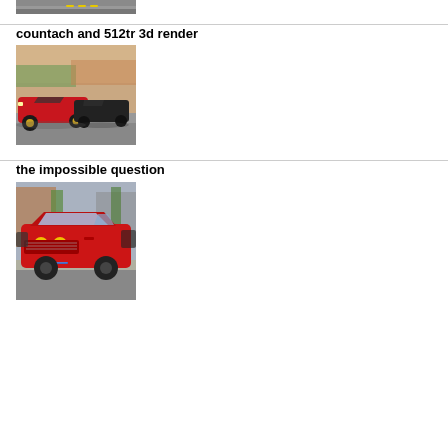[Figure (photo): Partial view of a road with yellow center lines, cropped at top of page]
countach and 512tr 3d render
[Figure (photo): A red Lamborghini Countach with gold wheels alongside a dark colored Ferrari 512TR driving on a road, 3D render style photo]
the impossible question
[Figure (photo): A red classic Alfa Romeo GTV (Giulia Sprint GT) parked on a street, front three-quarter view with yellow fog lights and California license plate]